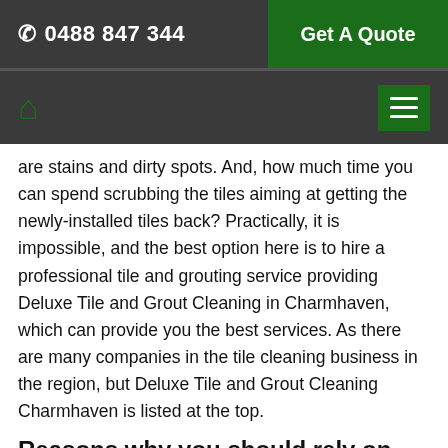📞 0488 847 344 | Get A Quote
are stains and dirty spots. And, how much time you can spend scrubbing the tiles aiming at getting the newly-installed tiles back? Practically, it is impossible, and the best option here is to hire a professional tile and grouting service providing Deluxe Tile and Grout Cleaning in Charmhaven, which can provide you the best services. As there are many companies in the tile cleaning business in the region, but Deluxe Tile and Grout Cleaning Charmhaven is listed at the top.
Reasons why you should rely on Deluxe Tile and Grout Cleaning for